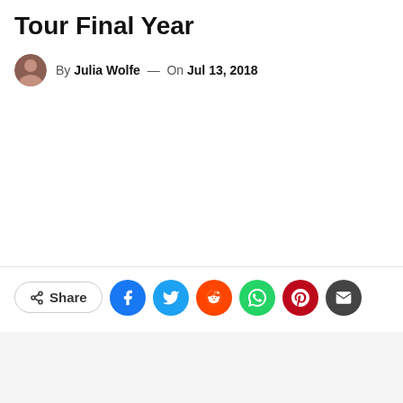Tour Final Year
By Julia Wolfe — On Jul 13, 2018
[Figure (infographic): Social share bar with Share button and icons for Facebook, Twitter, Reddit, WhatsApp, Pinterest, and Email]